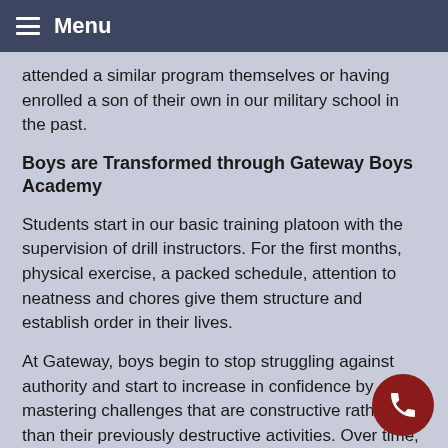Menu
attended a similar program themselves or having enrolled a son of their own in our military school in the past.
Boys are Transformed through Gateway Boys Academy
Students start in our basic training platoon with the supervision of drill instructors. For the first months, physical exercise, a packed schedule, attention to neatness and chores give them structure and establish order in their lives.
At Gateway, boys begin to stop struggling against authority and start to increase in confidence by mastering challenges that are constructive rather than their previously destructive activities. Over time, they promote to higher levels, acquiring privileges and responsibilities along the way. The upper level military school cadet is permitted to participate in off campus sports, outreaches, and travel.